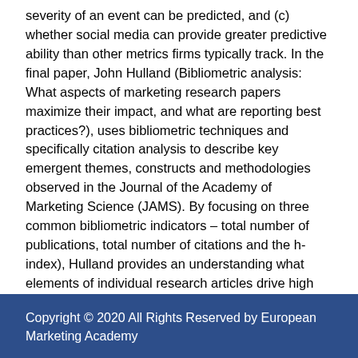severity of an event can be predicted, and (c) whether social media can provide greater predictive ability than other metrics firms typically track. In the final paper, John Hulland (Bibliometric analysis: What aspects of marketing research papers maximize their impact, and what are reporting best practices?), uses bibliometric techniques and specifically citation analysis to describe key emergent themes, constructs and methodologies observed in the Journal of the Academy of Marketing Science (JAMS). By focusing on three common bibliometric indicators – total number of publications, total number of citations and the h-index), Hulland provides an understanding what elements of individual research articles drive high citation within marketing.
Copyright © 2020 All Rights Reserved by European Marketing Academy